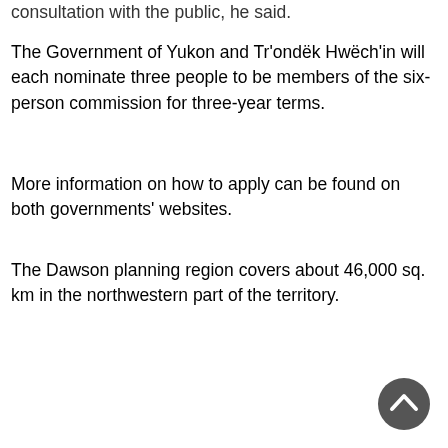consultation with the public, he said.
The Government of Yukon and Tr’ondëk Hwëch’in will each nominate three people to be members of the six-person commission for three-year terms.
More information on how to apply can be found on both governments’ websites.
The Dawson planning region covers about 46,000 sq. km in the northwestern part of the territory.